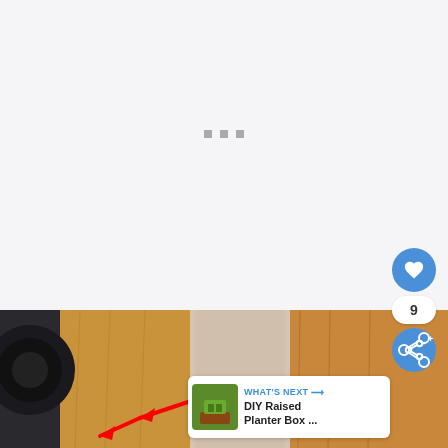[Figure (screenshot): Loading placeholder area with light gray background and three small gray squares indicating a loading spinner]
[Figure (photo): Close-up photo of wooden boards/planks, likely for a DIY project, with a red arrow pointing to a joint detail. A camera lens is visible in the upper left. A 'What's Next' card overlays the bottom right showing a DIY Raised Planter Box thumbnail.]